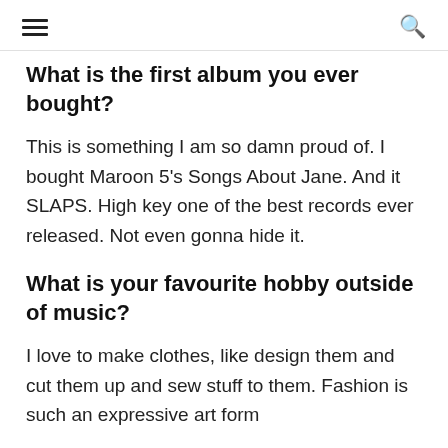≡   🔍
What is the first album you ever bought?
This is something I am so damn proud of. I bought Maroon 5's Songs About Jane. And it SLAPS. High key one of the best records ever released. Not even gonna hide it.
What is your favourite hobby outside of music?
I love to make clothes, like design them and cut them up and sew stuff to them. Fashion is such an expressive art form